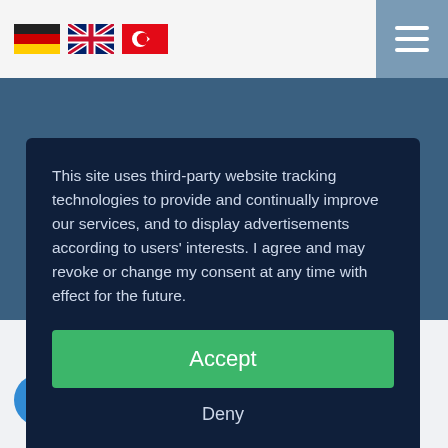[Figure (screenshot): Website header with German, UK, and Turkish flag icons for language selection, and a hamburger menu button on the right]
[Figure (screenshot): Cookie consent modal overlay on dark navy background with accept, deny, more buttons and Usercentrics branding]
This site uses third-party website tracking technologies to provide and continually improve our services, and to display advertisements according to users' interests. I agree and may revoke or change my consent at any time with effect for the future.
Accept
Deny
more
Powered by usercentrics
msspark | lusive offices in Ulm-West
Businesspark I Einsteinstraße 50